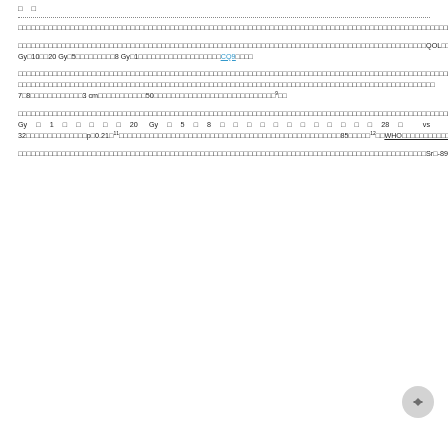□　□
□□□□□□□□□□□□□□□□□□□□□□□□□□□□□□□□□□□□□□□□□□□□□□□□□□□□□□□□□□□□□□□□□□□□□□□□□□□□□□□□□□□□□□□□□□□□□□□□□□□□□□□□□□□□□□□□□□□□□□□□□□□□□□□□□□□□□□□□□□□□□□□□□□□□□□□□□□□□□□□□□□□□□□□□□□□□□□□□□□□□□□□□□□□□□□□□□□□□□□□□1□2□5□6□□
□□□□□□□□□□□□□□□□□□□□□□□□□□□□□□□□□□□□□□□□□□□□□□□□□□□□□□□□□□□□□□□□□□□□□□□□□□□□□□□□□□□□□□□□□□□□□□QOL□□□□□□□□□□□□□□□□□□□60□80□□□□□□□□□□□□□□□□□1□2□□□□□□□□□□□30 Gy□10□□20 Gy□5□□□□□□□□□8 Gy□1□□□□□□□□□□□□□□□□□□□CQ9□□□□
□□□□□□□□□□□□□□□□□□□□□□□□□□□□□□□□□□□□□□□□□□□□□□□□□□□□□□□□□□□□□□□□□□□□□□□□□□□□□□□□□□□□□□□□□□□□□□□□□□□□□□□□□□□□□□□□□□□□□□□□7□8□□□□□□□□□□□□3 cm□□□□□□□□□□□50□□□□□□□□□□□□□□□□□□□□□□□□□□□□□9□□
□□□□□□□□□□□□□□□□□□□□□□□□□□□□□□□□□□□□□□□□□□□□□□□□□□□□□□□□□□□□□□□□□□□□□□□□□□□□□□□□□□□□□□□□□□□□□□□□□□□□□□□□□□□□□□□□□□□□□□□□□□□□□□□□□□□□□□□□□□□□□□□□□□□□□□□□□□□□□□□□□□□□□□□□□□□□2,694□□□□□□□□□527□□20□□□□□□□□□□□□□□□□□□□□□□□□□□□□□□□58□□□□□□□□□□□10□□□□□□□□□□□□□□□□□□□□□□□□□□8 Gy□1□□□□□20 Gy□5□8□□□□□□□□□□□□28□ vs 32□□□□□□□□□□□□□□p□0.21□11□□□□□□□□□□□□□□□□□□□□□□□□□□□□□□□□□□□□□□□□□□□□□□□□□85□□□□□12□□WHO□□□□□□□□□□□□□□□□□□□□□□□□□□□□□□□□□□□□□□□□□□□□□□□□13)□
□□□□□□□□□□□□□□□□□□□□□□□□□□□□□□□□□□□□□□□□□□□□□□□□□□□□□□□□□□□□□□□□□□□□□□□□□□□□□□□□□□□□□□□□□□□□Sr□-89□□□□®□□□□